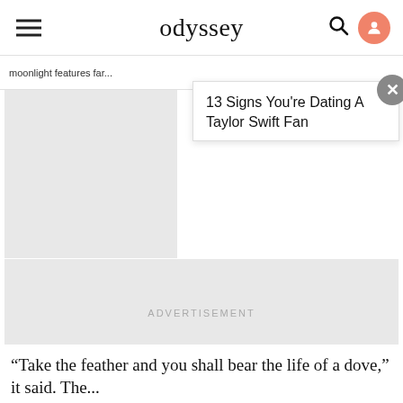odyssey
moonlight features far...
13 Signs You're Dating A Taylor Swift Fan
[Figure (other): Thumbnail image placeholder (gray rectangle) for related article]
[Figure (other): Advertisement placeholder block labeled ADVERTISEMENT]
“Take the feather and you shall bear the life of a dove,” it said. The...